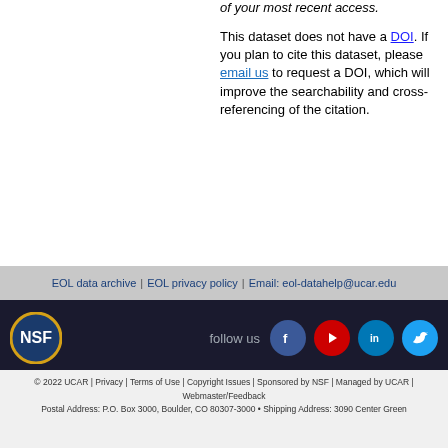of your most recent access.
This dataset does not have a DOI. If you plan to cite this dataset, please email us to request a DOI, which will improve the searchability and cross-referencing of the citation.
▶Ancillary information
EOL data archive | EOL privacy policy | Email: eol-datahelp@ucar.edu
follow us [Facebook] [YouTube] [LinkedIn] [Twitter]
© 2022 UCAR | Privacy | Terms of Use | Copyright Issues | Sponsored by NSF | Managed by UCAR | Webmaster/Feedback
Postal Address: P.O. Box 3000, Boulder, CO 80307-3000 • Shipping Address: 3090 Center Green